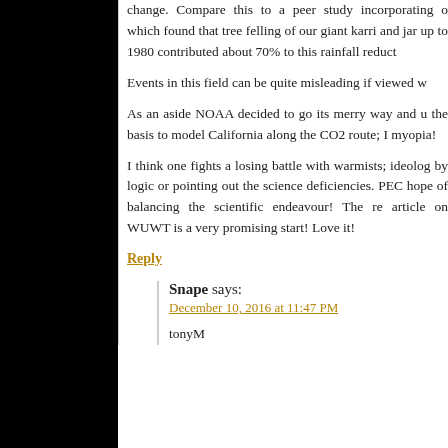change. Compare this to a peer study incorporating o which found that tree felling of our giant karri and jar up to 1980 contributed about 70% to this rainfall reduct
Events in this field can be quite misleading if viewed w
As an aside NOAA decided to go its merry way and u the basis to model California along the CO2 route; I myopia!
I think one fights a losing battle with warmists; ideolog by logic or pointing out the science deficiencies. PEC hope of balancing the scientific endeavour! The re article on WUWT is a very promising start! Love it!
Reply
Snape says:
December 10, 2016 at 11:47 PM
tonyM